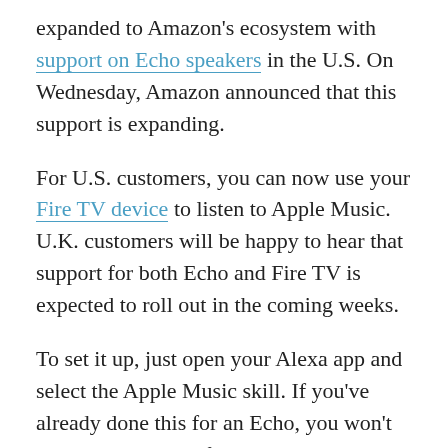expanded to Amazon's ecosystem with support on Echo speakers in the U.S. On Wednesday, Amazon announced that this support is expanding.
For U.S. customers, you can now use your Fire TV device to listen to Apple Music. U.K. customers will be happy to hear that support for both Echo and Fire TV is expected to roll out in the coming weeks.
To set it up, just open your Alexa app and select the Apple Music skill. If you've already done this for an Echo, you won't need to do it again for the Fire TV, it'll just be there. You can then give commands like, “Alexa, play R&B on Apple Music” or “Alexa, play music by Ariana Grande on Apple Music.”
This is just another small step in Apple’s transition to an increasingly services-oriented business, with